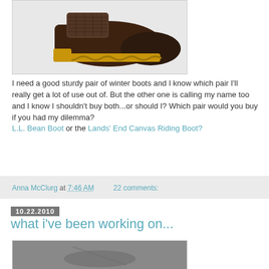[Figure (photo): Brown rubber duck boot with tan/yellow waffle sole on a light gray background]
I need a good sturdy pair of winter boots and I know which pair I'll really get a lot of use out of. But the other one is calling my name too and I know I shouldn't buy both...or should I? Which pair would you buy if you had my dilemma? L.L. Bean Boot or the Lands' End Canvas Riding Boot?
Anna McClurg at 7:46 AM   22 comments:
10.22.2010
what i've been working on...
[Figure (photo): Partial view of a gray-toned image, likely showing a craft or sewing project in progress]